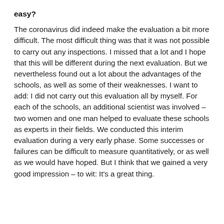easy?
The coronavirus did indeed make the evaluation a bit more difficult. The most difficult thing was that it was not possible to carry out any inspections. I missed that a lot and I hope that this will be different during the next evaluation. But we nevertheless found out a lot about the advantages of the schools, as well as some of their weaknesses. I want to add: I did not carry out this evaluation all by myself. For each of the schools, an additional scientist was involved – two women and one man helped to evaluate these schools as experts in their fields. We conducted this interim evaluation during a very early phase. Some successes or failures can be difficult to measure quantitatively, or as well as we would have hoped. But I think that we gained a very good impression – to wit: It's a great thing.